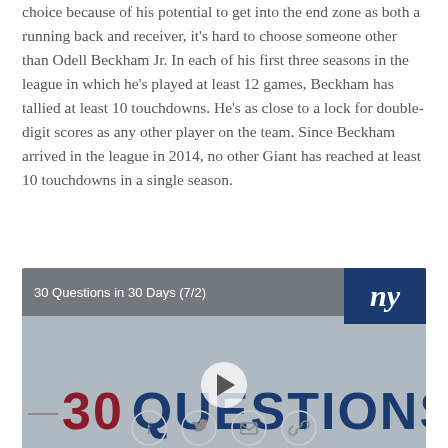choice because of his potential to get into the end zone as both a running back and receiver, it's hard to choose someone other than Odell Beckham Jr. In each of his first three seasons in the league in which he's played at least 12 games, Beckham has tallied at least 10 touchdowns. He's as close to a lock for double-digit scores as any other player on the team. Since Beckham arrived in the league in 2014, no other Giant has reached at least 10 touchdowns in a single season.
[Figure (screenshot): Video thumbnail for '30 Questions in 30 Days (7/2)' with New York Giants branding. Shows large text '30 QUESTIONS' with a play button overlay. Navy blue NY Giants logo in top right corner.]
[Figure (infographic): Social sharing icons row: Facebook (f), Twitter (bird), Email (envelope), Link/share icon. All in light gray circle outlines.]